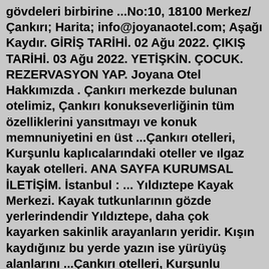gövdeleri birbirine ...No:10, 18100 Merkez/Çankırı; Harita; info@joyanaotel.com; Aşağı Kaydır. GİRİŞ TARİHİ. 02 Ağu 2022. ÇIKIŞ TARİHİ. 03 Ağu 2022. YETİŞKİN. ÇOCUK. REZERVASYON YAP. Joyana Otel Hakkımızda . Çankırı merkezde bulunan otelimiz, Çankırı konukseverliğinin tüm özelliklerini yansıtmayı ve konuk memnuniyetini en üst ...Çankırı otelleri, Kurşunlu kaplıcalarındaki oteller ve ılgaz kayak otelleri. ANA SAYFA KURUMSAL İLETİŞİM. İstanbul : ... Yıldıztepe Kayak Merkezi. Kayak tutkunlarının gözde yerlerindendir Yıldıztepe, daha çok kayarken sakinlik arayanların yeridir. Kışın kaydığınız bu yerde yazın ise yürüyüş alanlarını ...Çankırı otelleri, Kurşunlu kaplıcalarındaki oteller ve ılgaz kayak otelleri ANA SAYFA KURUMSAL İLETİŞİM İstanbul : 0212 908 21 48 Ankara : 0312 711 09 65 İzmir : 0232 908 06 78 Çankırı Büyük Hotel - (0376) 213 38... - MERKEZ / ÇANKIRI firma bilgileriÇankırı Merkez Şehir Rehberi Çankırı Merkez Otelleri Fiyatları 2 Yetişkin - Çankırı Merkez otelleri araması için 1 otel bulunmuştur. Haritada